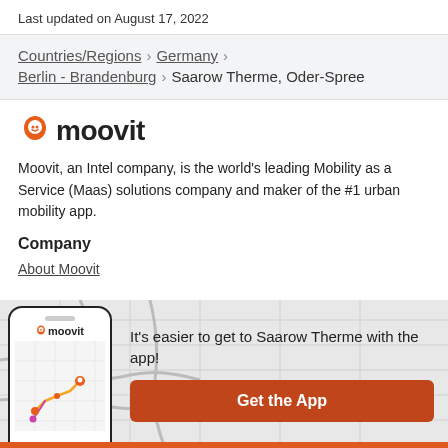Last updated on August 17, 2022
Countries/Regions › Germany › Berlin - Brandenburg › Saarow Therme, Oder-Spree
[Figure (logo): Moovit logo with orange location pin icon and bold text 'moovit']
Moovit, an Intel company, is the world's leading Mobility as a Service (Maas) solutions company and maker of the #1 urban mobility app.
Company
About Moovit
[Figure (infographic): App promotion banner with phone mockup showing moovit app with map and route, text saying It's easier to get to Saarow Therme with the app!, and a Get the App button]
It's easier to get to Saarow Therme with the app!